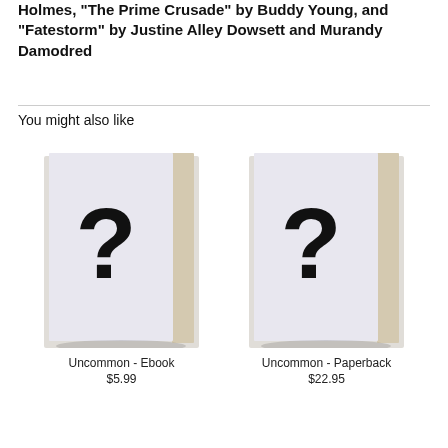Holmes, “The Prime Crusade” by Buddy Young, and “Fatestorm” by Justine Alley Dowsett and Murandy Damodred
You might also like
[Figure (illustration): Book with question mark on cover - Uncommon Ebook]
Uncommon - Ebook
$5.99
[Figure (illustration): Book with question mark on cover - Uncommon Paperback]
Uncommon - Paperback
$22.95